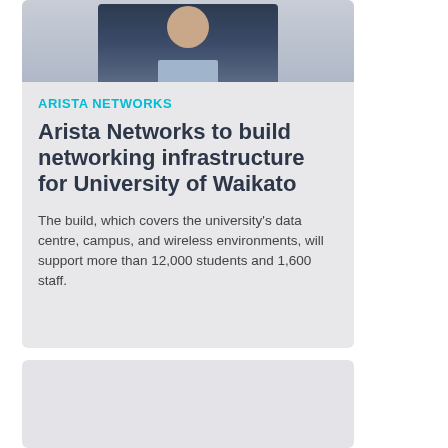[Figure (photo): Partial photo of a man in a dark suit and light blue shirt, cropped at the upper portion]
ARISTA NETWORKS
Arista Networks to build networking infrastructure for University of Waikato
The build, which covers the university's data centre, campus, and wireless environments, will support more than 12,000 students and 1,600 staff.
[Figure (photo): Partial view of a second card/article below, mostly empty gray area with a photo partially visible at the bottom]